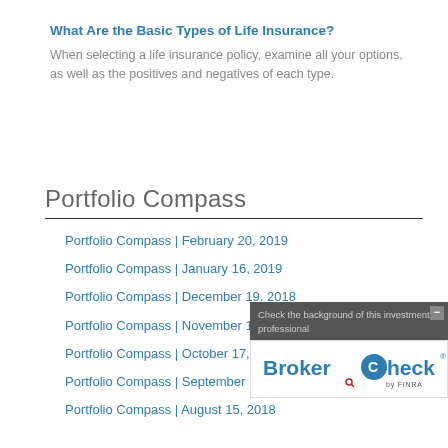What Are the Basic Types of Life Insurance?
When selecting a life insurance policy, examine all your options, as well as the positives and negatives of each type.
Portfolio Compass
Portfolio Compass | February 20, 2019
Portfolio Compass | January 16, 2019
Portfolio Compass | December 19, 2018
Portfolio Compass | November 14, 2018
Portfolio Compass | October 17, 2018
Portfolio Compass | September 19, 2018
Portfolio Compass | August 15, 2018